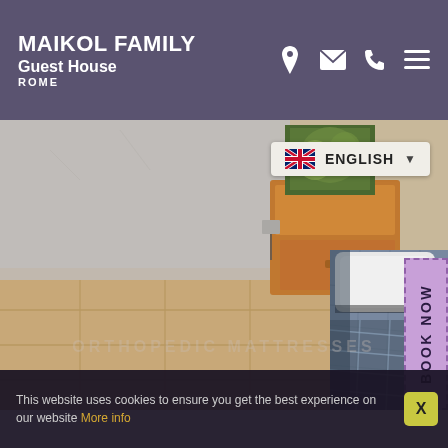MAIKOL FAMILY Guest House ROME
[Figure (photo): Hotel room photo showing tiled floor, wooden nightstand with drawer, floral artwork on wall, and a bed with blue/grey quilted bedspread and white towel/pillow]
ENGLISH
BOOK NOW
ORTHOPEDIC MATTRESSES
This website uses cookies to ensure you get the best experience on our website More info